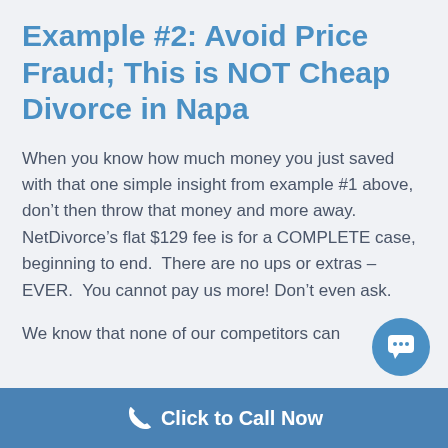Example #2: Avoid Price Fraud; This is NOT Cheap Divorce in Napa
When you know how much money you just saved with that one simple insight from example #1 above, don’t then throw that money and more away. NetDivorce’s flat $129 fee is for a COMPLETE case, beginning to end.  There are no ups or extras – EVER.  You cannot pay us more! Don’t even ask.
We know that none of our competitors can
Click to Call Now